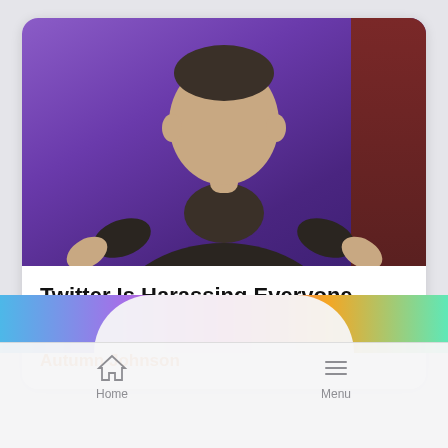[Figure (photo): Photo of Elon Musk seated, wearing a dark blazer over a dark turtleneck, against a purple background with dark red panel on the right]
Twitter Is Harassing Everyone Musk Knows About Deal: Report
Autumn Johnson
[Figure (other): Colorful gradient strip (blue, purple, pink, orange, green) partially visible at bottom]
Home   Menu